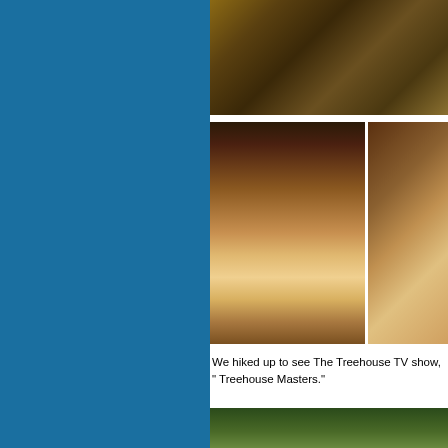[Figure (photo): Interior of a rustic lodge with wooden furniture, chairs, and what appears to be a stone sculpture on the right side]
[Figure (photo): Woman with gray hair smiling at a restaurant table with food and drinks]
[Figure (photo): Close-up of food on a plate with a spoon or utensil visible]
We hiked up to see The Treehouse TV show, " Treehouse Masters."
[Figure (photo): Aerial or elevated view of trees and forest canopy]